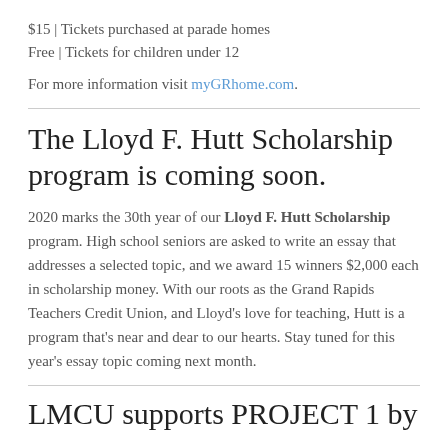$15 | Tickets purchased at parade homes
Free | Tickets for children under 12
For more information visit myGRhome.com.
The Lloyd F. Hutt Scholarship program is coming soon.
2020 marks the 30th year of our Lloyd F. Hutt Scholarship program. High school seniors are asked to write an essay that addresses a selected topic, and we award 15 winners $2,000 each in scholarship money. With our roots as the Grand Rapids Teachers Credit Union, and Lloyd's love for teaching, Hutt is a program that's near and dear to our hearts. Stay tuned for this year's essay topic coming next month.
LMCU supports PROJECT 1 by